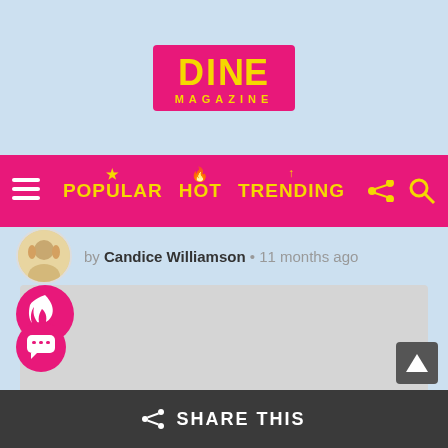[Figure (logo): DINE Magazine logo — pink/magenta rounded rectangle with yellow bold text DINE and yellow MAGAZINE below]
POPULAR HOT TRENDING
by Candice Williamson • 11 months ago
[Figure (illustration): Large gray placeholder rectangle — article main image]
[Figure (other): Red circular hot/fire badge icon overlaid on image]
[Figure (other): Pink circular chat/comment bubble button at bottom left]
SHARE THIS